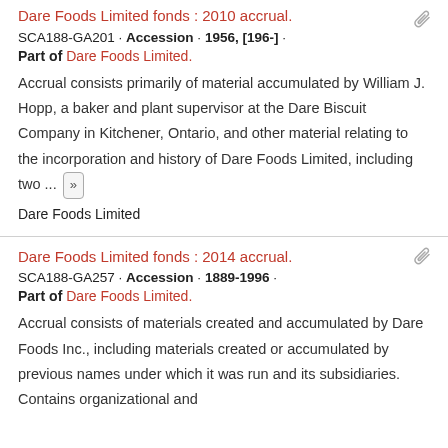Dare Foods Limited fonds : 2010 accrual.
SCA188-GA201 · Accession · 1956, [196-] ·
Part of Dare Foods Limited.
Accrual consists primarily of material accumulated by William J. Hopp, a baker and plant supervisor at the Dare Biscuit Company in Kitchener, Ontario, and other material relating to the incorporation and history of Dare Foods Limited, including two ...
Dare Foods Limited
Dare Foods Limited fonds : 2014 accrual.
SCA188-GA257 · Accession · 1889-1996 ·
Part of Dare Foods Limited.
Accrual consists of materials created and accumulated by Dare Foods Inc., including materials created or accumulated by previous names under which it was run and its subsidiaries. Contains organizational and